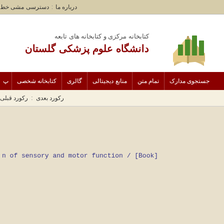درباره ما : دسترسی مشی خط
[Figure (logo): Golestan University of Medical Sciences library logo with green book and bar chart graphic]
کتابخانه مرکزی و کتابخانه های تابعه
دانشگاه علوم پزشکی گلستان
جستجوی مدارک | تمام متن | منابع دیجیتالی | گالری | کتابخانه شخصی | پ
رکورد بعدی : رکورد قبلی
n of sensory and motor function / [Book]